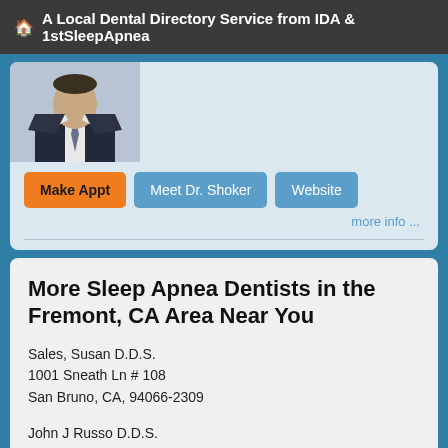A Local Dental Directory Service from IDA & 1stSleepApnea
[Figure (photo): Partial photo of a man in a suit and tie, cropped at top]
Make Appt   Meet Dr. Shoker   Website
more info ...
More Sleep Apnea Dentists in the Fremont, CA Area Near You
Sales, Susan D.D.S.
1001 Sneath Ln # 108
San Bruno, CA, 94066-2309
John J Russo D.D.S.
1101 El Camino Real
San Bruno, CA, 94066-2405
(650) 583-2273